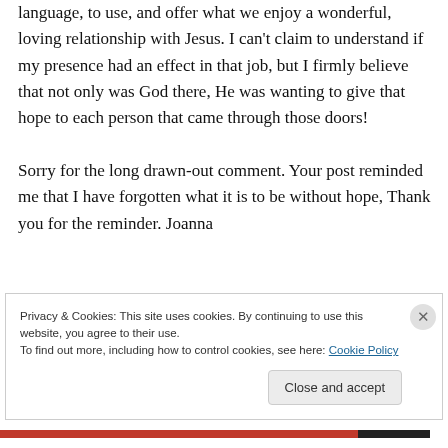language, to use, and offer what we enjoy a wonderful, loving relationship with Jesus. I can't claim to understand if my presence had an effect in that job, but I firmly believe that not only was God there, He was wanting to give that hope to each person that came through those doors!

Sorry for the long drawn-out comment. Your post reminded me that I have forgotten what it is to be without hope, Thank you for the reminder. Joanna
Privacy & Cookies: This site uses cookies. By continuing to use this website, you agree to their use.
To find out more, including how to control cookies, see here: Cookie Policy